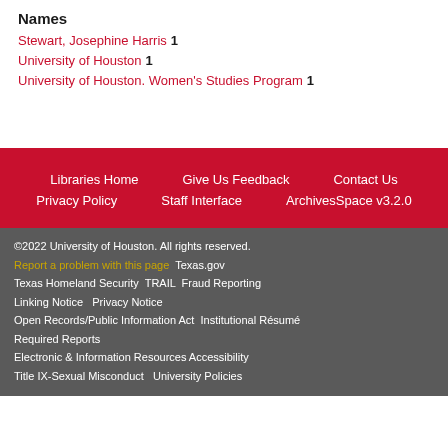Names
Stewart, Josephine Harris  1
University of Houston  1
University of Houston. Women's Studies Program  1
Libraries Home | Give Us Feedback | Contact Us | Privacy Policy | Staff Interface | ArchivesSpace v3.2.0
©2022 University of Houston. All rights reserved. Report a problem with this page  Texas.gov  Texas Homeland Security  TRAIL  Fraud Reporting  Linking Notice  Privacy Notice  Open Records/Public Information Act  Institutional Résumé  Required Reports  Electronic & Information Resources Accessibility  Title IX-Sexual Misconduct  University Policies